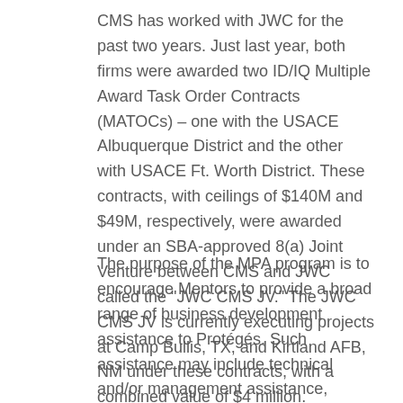CMS has worked with JWC for the past two years. Just last year, both firms were awarded two ID/IQ Multiple Award Task Order Contracts (MATOCs) – one with the USACE Albuquerque District and the other with USACE Ft. Worth District. These contracts, with ceilings of $140M and $49M, respectively, were awarded under an SBA-approved 8(a) Joint Venture between CMS and JWC called the "JWC CMS JV." The JWC CMS JV is currently executing projects at Camp Bullis, TX, and Kirtland AFB, NM under these contracts, with a combined value of $4 million.
The purpose of the MPA program is to encourage Mentors to provide a broad range of business development assistance to Protégés. Such assistance may include technical and/or management assistance, financial assistance in the form of equity investments and/or loans,